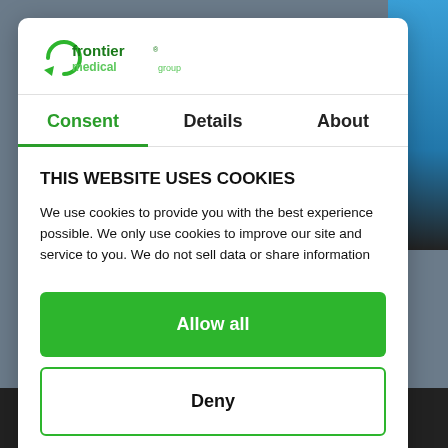[Figure (logo): Frontier Medical Group logo with green arrow/leaf icon and two-tone green text]
Consent | Details | About
THIS WEBSITE USES COOKIES
We use cookies to provide you with the best experience possible. We only use cookies to improve our site and service to you. We do not sell data or share information
Allow all
Deny
Powered by Cookiebot by Usercentrics